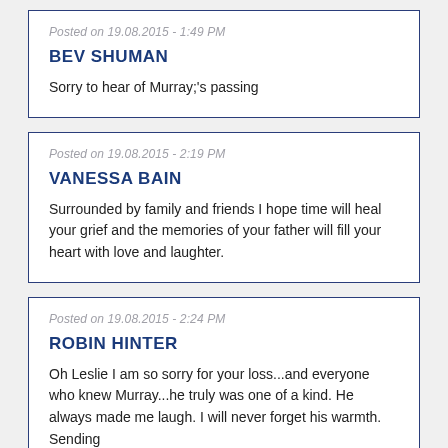Posted on 19.08.2015 - 1:49 PM
BEV SHUMAN
Sorry to hear of Murray;'s passing
Posted on 19.08.2015 - 2:19 PM
VANESSA BAIN
Surrounded by family and friends I hope time will heal your grief and the memories of your father will fill your heart with love and laughter.
Posted on 19.08.2015 - 2:24 PM
ROBIN HINTER
Oh Leslie I am so sorry for your loss...and everyone who knew Murray...he truly was one of a kind. He always made me laugh. I will never forget his warmth. Sending